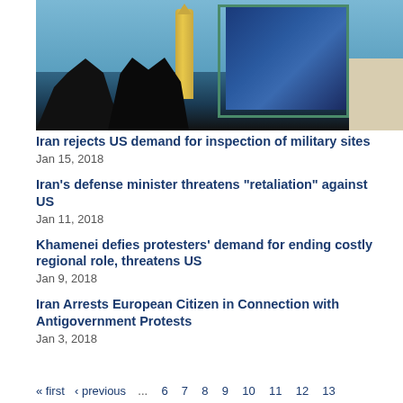[Figure (photo): Photo of missiles and a large portrait of a religious leader mounted on a structure, with silhouettes of people in the foreground against a blue sky]
Iran rejects US demand for inspection of military sites
Jan 15, 2018
Iran's defense minister threatens "retaliation" against US
Jan 11, 2018
Khamenei defies protesters' demand for ending costly regional role, threatens US
Jan 9, 2018
Iran Arrests European Citizen in Connection with Antigovernment Protests
Jan 3, 2018
« first  ‹ previous  ...  6  7  8  9  10  11  12  13